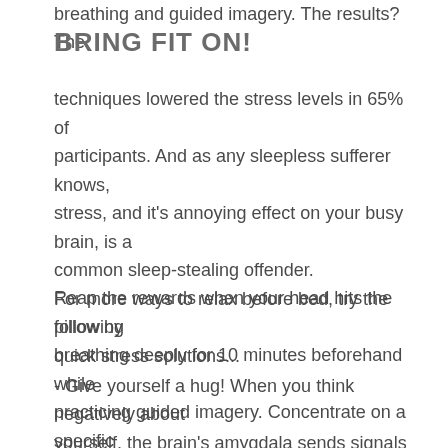BRING FIT ON!
breathing and guided imagery. The results? The techniques lowered the stress levels in 65% of participants. And as any sleepless sufferer knows, stress, and it's annoying effect on your busy brain, is a common sleep-stealing offender.
Reap the rewards when your head hits the pillow by breathing deeply for 10 minutes beforehand while practicing guided imagery. Concentrate on a specific image or sensation that evokes the emotions you want to feel :)
For more ways to relax before bed, try the following quick stress solutions...
- Give yourself a hug! When you think negatively about yourself, the brain's amygdala sends signals that